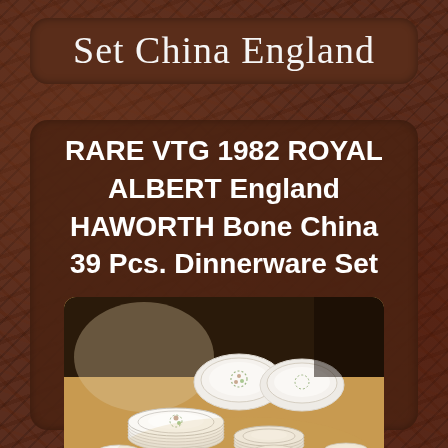Set China England
RARE VTG 1982 ROYAL ALBERT England HAWORTH Bone China 39 Pcs. Dinnerware Set
[Figure (photo): Photograph of a Royal Albert Haworth Bone China 39-piece dinnerware set displayed on a table, showing plates, teacups and saucers with floral decoration]